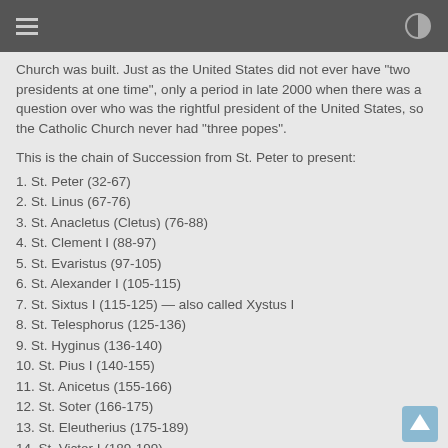Church was built. Just as the United States did not ever have "two presidents at one time", only a period in late 2000 when there was a question over who was the rightful president of the United States, so the Catholic Church never had "three popes".
This is the chain of Succession from St. Peter to present:
1. St. Peter (32-67)
2. St. Linus (67-76)
3. St. Anacletus (Cletus) (76-88)
4. St. Clement I (88-97)
5. St. Evaristus (97-105)
6. St. Alexander I (105-115)
7. St. Sixtus I (115-125) — also called Xystus I
8. St. Telesphorus (125-136)
9. St. Hyginus (136-140)
10. St. Pius I (140-155)
11. St. Anicetus (155-166)
12. St. Soter (166-175)
13. St. Eleutherius (175-189)
14. St. Victor I (189-199)
15. St. Zephyrinus (199-217)